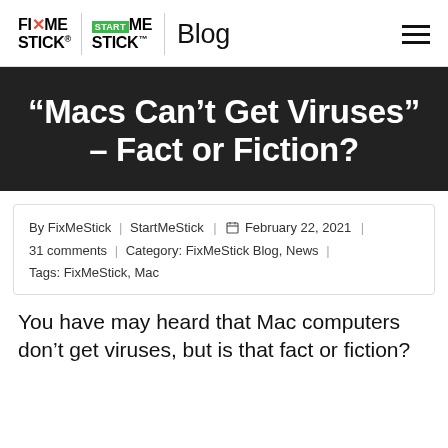FIXMESTICK | STARTMESTICK | Blog
“Macs Can’t Get Viruses” – Fact or Fiction?
By FixMeStick | StartMeStick | February 22, 2021 | 31 comments | Category: FixMeStick Blog, News | Tags: FixMeStick, Mac
You have may heard that Mac computers don’t get viruses, but is that fact or fiction?